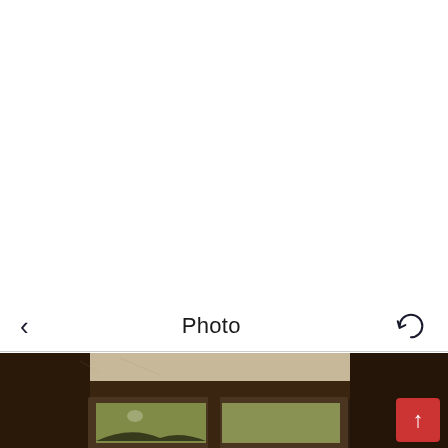Photo
[Figure (photo): A photograph showing what appears to be the top edge of a framed window or panel with a dark wooden frame, viewed from below or at an angle. The interior shows a yellowish-green tinted glass or surface. The background shows a ceiling. A scroll-to-top button (red square with white upward arrow) overlays the lower-right corner of the photo.]